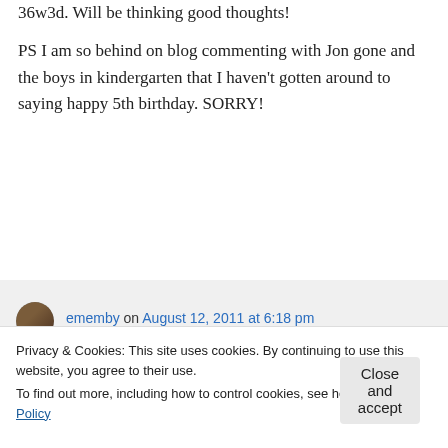36w3d. Will be thinking good thoughts!
PS I am so behind on blog commenting with Jon gone and the boys in kindergarten that I haven't gotten around to saying happy 5th birthday. SORRY!
↳ Reply
ememby on August 12, 2011 at 6:18 pm
Privacy & Cookies: This site uses cookies. By continuing to use this website, you agree to their use.
To find out more, including how to control cookies, see here: Cookie Policy
Close and accept